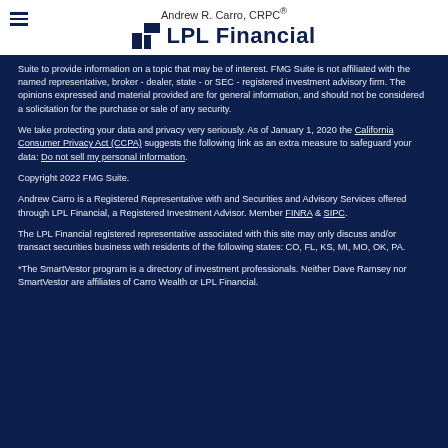Andrew R. Carro, CRPC® — LPL Financial
Suite to provide information on a topic that may be of interest. FMG Suite is not affiliated with the named representative, broker - dealer, state - or SEC - registered investment advisory firm. The opinions expressed and material provided are for general information, and should not be considered a solicitation for the purchase or sale of any security.
We take protecting your data and privacy very seriously. As of January 1, 2020 the California Consumer Privacy Act (CCPA) suggests the following link as an extra measure to safeguard your data: Do not sell my personal information.
Copyright 2022 FMG Suite.
Andrew Carro is a Registered Representative with and Securities and Advisory Services offered through LPL Financial, a Registered Investment Advisor. Member FINRA & SIPC.
The LPL Financial registered representative associated with this site may only discuss and/or transact securities business with residents of the following states: CO, FL, KS, MI, MO, OK, PA.
*The SmartVestor program is a directory of investment professionals. Neither Dave Ramsey nor SmartVestor are affiliates of Carro Wealth or LPL Financial.